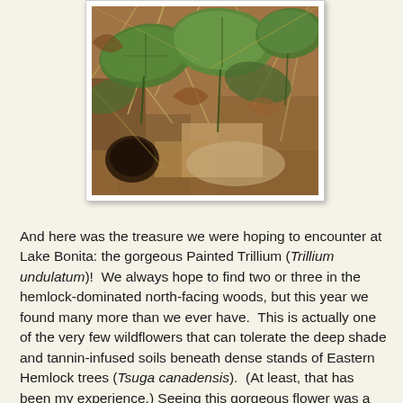[Figure (photo): Close-up photo of Painted Trillium plants growing on the forest floor among dry leaves, grass, and soil. Green broad leaves of trillium visible amid brown dried vegetation.]
And here was the treasure we were hoping to encounter at Lake Bonita: the gorgeous Painted Trillium (Trillium undulatum)!  We always hope to find two or three in the hemlock-dominated north-facing woods, but this year we found many more than we ever have.  This is actually one of the very few wildflowers that can tolerate the deep shade and tannin-infused soils beneath dense stands of Eastern Hemlock trees (Tsuga canadensis).  (At least, that has been my experience.) Seeing this gorgeous flower was a wonderful reward for completing a rather arduous trek over rocky terrain as we made our way completely around the lake.